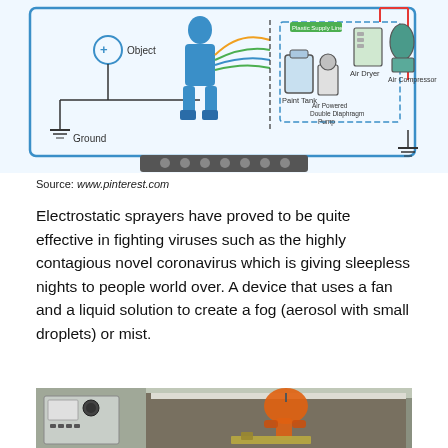[Figure (schematic): Electrostatic sprayer schematic diagram showing Object with positive charge, Ground, person in protective gear, Paint Tank, Air Powered Double Diaphragm Pump, Air Dryer, Air Compressor, with flow lines]
Source: www.pinterest.com
Electrostatic sprayers have proved to be quite effective in fighting viruses such as the highly contagious novel coronavirus which is giving sleepless nights to people world over. A device that uses a fan and a liquid solution to create a fog (aerosol with small droplets) or mist.
[Figure (photo): Photo of an electrostatic spray testing chamber with orange protective gear hanging, control panel on left, and spray equipment on the floor]